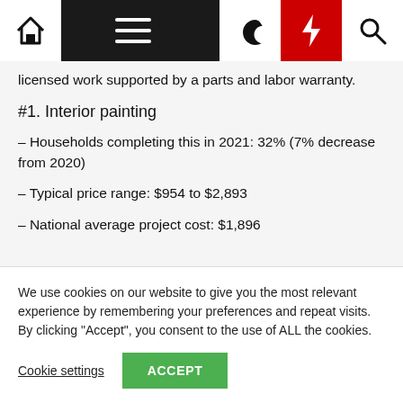Navigation bar with home, menu, moon, bolt, and search icons
licensed work supported by a parts and labor warranty.
#1. Interior painting
– Households completing this in 2021: 32% (7% decrease from 2020)
– Typical price range: $954 to $2,893
– National average project cost: $1,896
We use cookies on our website to give you the most relevant experience by remembering your preferences and repeat visits. By clicking "Accept", you consent to the use of ALL the cookies.
Cookie settings   ACCEPT